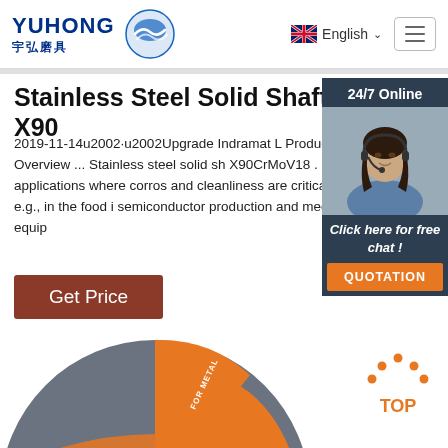YUHONG 宇弘磨具 — English
Stainless Steel Solid Shafts, X90...
2019-11-14u2002·u2002Upgrade Indramat L Products Overview ... Stainless steel solid sh X90CrMoV18 . For applications where corros and cleanliness are critical, e.g., in the food i semiconductor production and medical equip
Get Price
[Figure (photo): Chat widget with woman wearing headset, 24/7 Online label, Click here for free chat!, QUOTATION button]
[Figure (photo): Bottom portion of circular grinding disc product image in grey and orange colors with text FOR METAL]
[Figure (infographic): TOP navigation button with orange dots forming upward arrow shape]